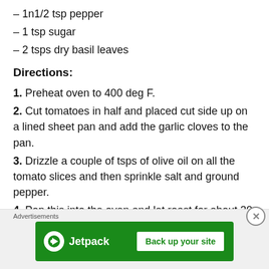– 1n1/2 tsp pepper
– 1 tsp sugar
– 2 tsps dry basil leaves
Directions:
1. Preheat oven to 400 deg F.
2. Cut tomatoes in half and placed cut side up on a lined sheet pan and add the garlic cloves to the pan.
3. Drizzle a couple of tsps of olive oil on all the tomato slices and then sprinkle salt and ground pepper.
4. Pop this into the oven and let roast for about 30 mins.
5. In the meanwhile, add 2 tsps of olive oil to a sauce pan and saute red onions until translucent. Add the red onions,
Advertisements
[Figure (other): Jetpack advertisement banner with 'Back up your site' button]